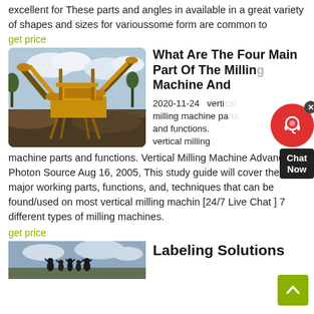excellent for These parts and angles in available in a great variety of shapes and sizes for varioussome form are common to
get price
[Figure (photo): Industrial yellow mining/crushing conveyor machine on a construction site with cloudy sky background]
What Are The Four Main Part Of The Milling Machine And
2020-11-24   vertical milling machine parts and functions. vertical milling machine parts and functions. Vertical Milling Machine Advanced Photon Source Aug 16, 2005, This study guide will cover the major working parts, functions, and, techniques that can be found/used on most vertical milling machin [24/7 Live Chat ] 7 different types of milling machines.
get price
[Figure (photo): People standing outdoors with cloudy sky background]
Labeling Solutions